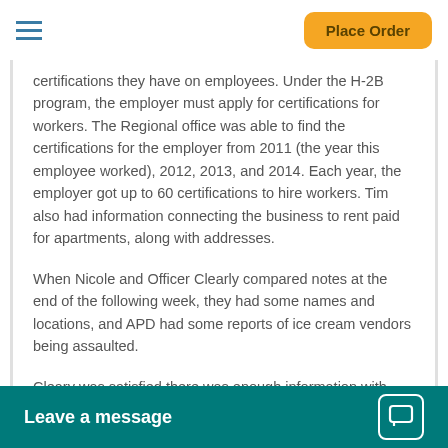Place Order
certifications they have on employees. Under the H-2B program, the employer must apply for certifications for workers. The Regional office was able to find the certifications for the employer from 2011 (the year this employee worked), 2012, 2013, and 2014. Each year, the employer got up to 60 certifications to hire workers. Tim also had information connecting the business to rent paid for apartments, along with addresses.
When Nicole and Officer Clearly compared notes at the end of the following week, they had some names and locations, and APD had some reports of ice cream vendors being assaulted.
Cleary was satisfied there was enough information with which to move forward. APD offered surveillance. “Give us all you have and we’ll start watching them. We will put up some pole camera able to isolate the wo Cleary offered to coo
[Figure (other): Leave a message chat widget button in teal/green at the bottom of the screen]